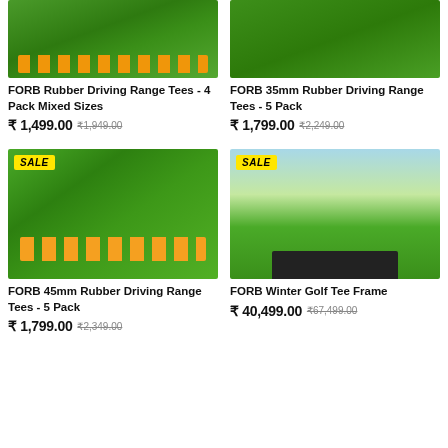[Figure (photo): FORB rubber driving range tees on green turf, top portion cropped, orange tees visible]
[Figure (photo): FORB 35mm rubber driving range tees on green turf, top portion cropped]
FORB Rubber Driving Range Tees - 4 Pack Mixed Sizes
₹ 1,499.00 ₹1,949.00
FORB 35mm Rubber Driving Range Tees - 5 Pack
₹ 1,799.00 ₹2,249.00
[Figure (photo): FORB 45mm rubber driving range tees arranged on green artificial turf, orange tees, SALE badge]
[Figure (photo): FORB Winter Golf Tee Frame with golfer swinging on golf course, SALE badge]
FORB 45mm Rubber Driving Range Tees - 5 Pack
₹ 1,799.00 ₹2,349.00
FORB Winter Golf Tee Frame
₹ 40,499.00 ₹67,499.00